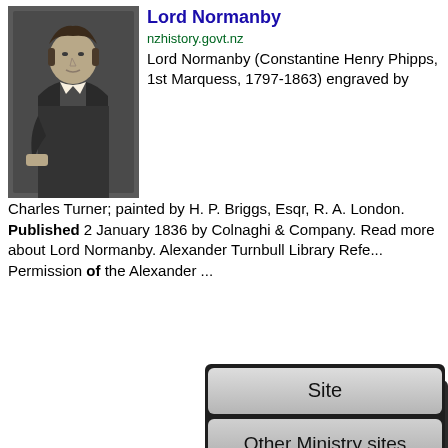[Figure (photo): Black and white portrait engraving of Lord Normanby]
Lord Normanby
nzhistory.govt.nz
Lord Normanby (Constantine Henry Phipps, 1st Marquess, 1797-1863) engraved by Charles Turner; painted by H. P. Briggs, Esqr, R. A. London. Published 2 January 1836 by Colnaghi & Company. Read more about Lord Normanby. Alexander Turnbull Library Refe... Permission of the Alexander ...
[Figure (screenshot): Dropdown menu overlay showing 'Site' and 'Other Ministry sites' options]
[Figure (photo): Black and white postcard photo of Wiri Webb]
Wiri Webb postcard
nzhistory.govt.nz
This postcard was produced after William ('Wiri') Webb became the first New Zealander to win the world professional sculling title in 1907. Alexander Turnbull Library, Reference: Eph-B-POSTCARD-Vol-1-111 Producers: A. D. Willis, publisher. A. E. Watkinson. photo Permission of the Alexander ...